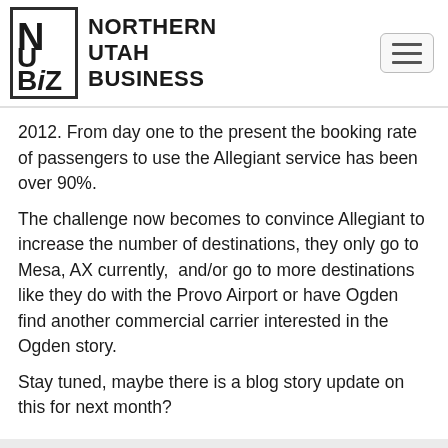NORTHERN UTAH BUSINESS
2012. From day one to the present the booking rate of passengers to use the Allegiant service has been over 90%.
The challenge now becomes to convince Allegiant to increase the number of destinations, they only go to Mesa, AX currently,  and/or go to more destinations like they do with the Provo Airport or have Ogden find another commercial carrier interested in the Ogden story.
Stay tuned, maybe there is a blog story update on this for next month?
[Figure (other): Social media share buttons: Facebook, Twitter, LinkedIn, Google+]